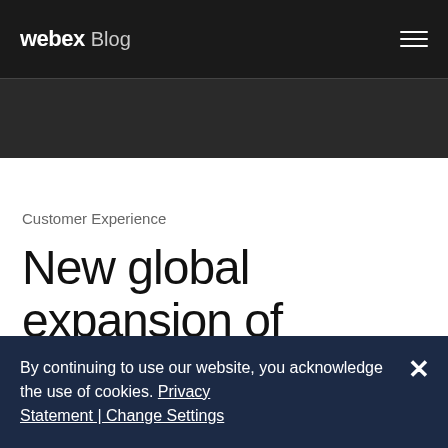webex Blog
Customer Experience
New global expansion of Webex Contact
By continuing to use our website, you acknowledge the use of cookies. Privacy Statement | Change Settings